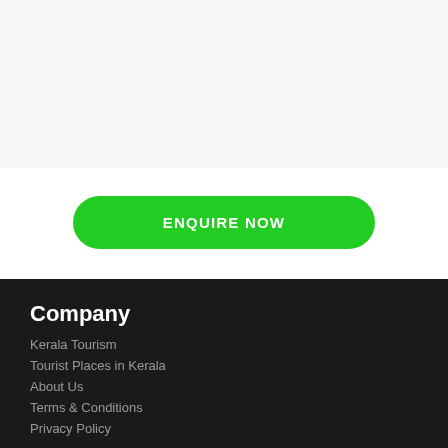[Figure (other): Light gray empty content area at the top of the page]
ENQUIRE NOW
Company
Kerala Tourism
Tourist Places in Kerala
About Us
Terms & Conditions
Privacy Policy